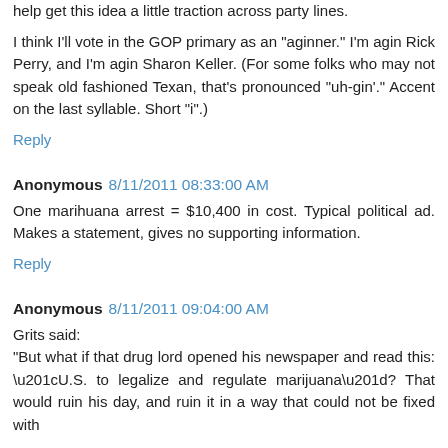help get this idea a little traction across party lines.
I think I'll vote in the GOP primary as an "aginner." I'm agin Rick Perry, and I'm agin Sharon Keller. (For some folks who may not speak old fashioned Texan, that's pronounced "uh-gin'." Accent on the last syllable. Short "i".)
Reply
Anonymous 8/11/2011 08:33:00 AM
One marihuana arrest = $10,400 in cost. Typical political ad. Makes a statement, gives no supporting information.
Reply
Anonymous 8/11/2011 09:04:00 AM
Grits said:
"But what if that drug lord opened his newspaper and read this: “U.S. to legalize and regulate marijuana”? That would ruin his day, and ruin it in a way that could not be fixed with